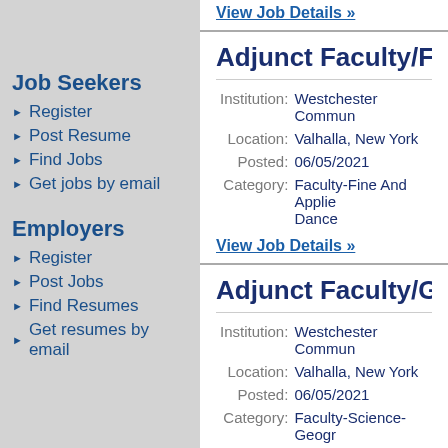View Job Details »
Job Seekers
Register
Post Resume
Find Jobs
Get jobs by email
Employers
Register
Post Jobs
Find Resumes
Get resumes by email
Adjunct Faculty/Film
Institution: Westchester Commun
Location: Valhalla, New York
Posted: 06/05/2021
Category: Faculty-Fine And Applied Dance
View Job Details »
Adjunct Faculty/Geo
Institution: Westchester Commun
Location: Valhalla, New York
Posted: 06/05/2021
Category: Faculty-Science-Geogr
View Job Details »